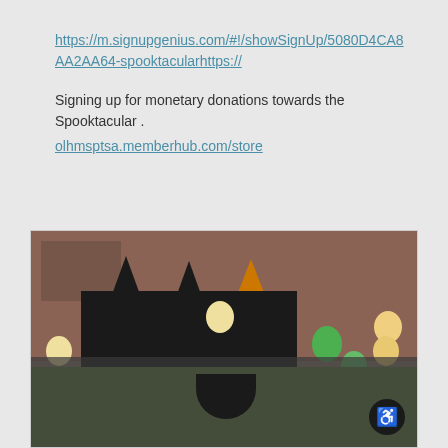https://m.signupgenius.com/#!/showSignUp/5080D4CA8AA2AA64-spooktacularhttps://
Signing up for monetary donations towards the Spooktacular .
olhmsptsa.memberhub.com/store
[Figure (photo): Three people dressed as witches with pointed hats and face masks standing outdoors in front of a brick school building. There is a large black cauldron on a table in front of them, along with various items. Green and cream/orange balloons are visible around them.]